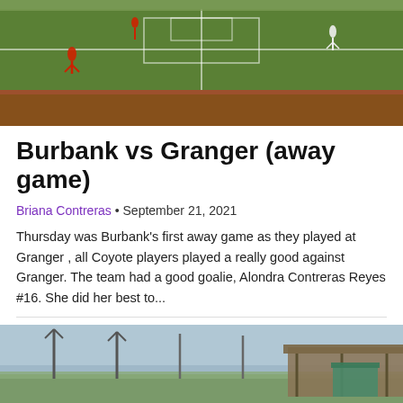[Figure (photo): Aerial/sideline view of a soccer field with players on a green grass field with a red/brick track border visible]
Burbank vs Granger (away game)
Briana Contreras • September 21, 2021
Thursday was Burbank's first away game as they played at Granger , all Coyote players played a really good against Granger. The team had a good goalie, Alondra Contreras Reyes #16. She did her best to...
[Figure (photo): Outdoor sports facility with light poles, a covered bleacher/dugout structure on the right, overcast sky]